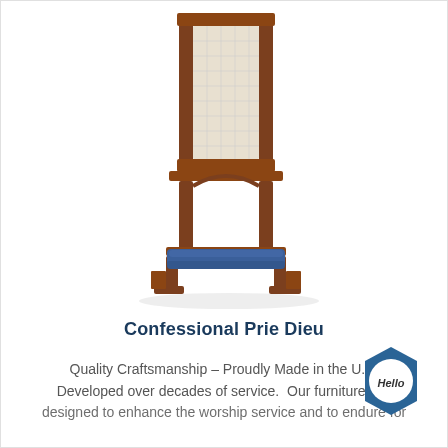[Figure (photo): A wooden Confessional Prie Dieu kneeler with dark walnut/mahogany finish, featuring a tall rectangular screen/panel at top, an arched middle section, and a blue upholstered kneeling bench at the bottom.]
Confessional Prie Dieu
Quality Craftsmanship – Proudly Made in the U.S. Developed over decades of service. Our furniture line designed to enhance the worship service and to endure for